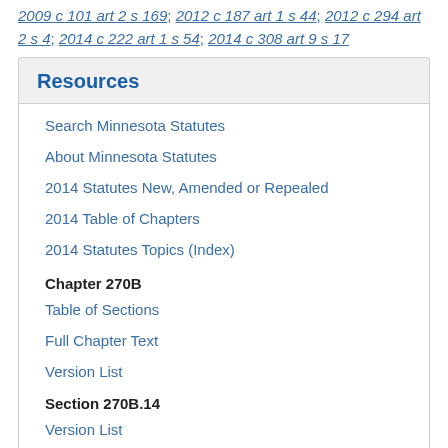2009 c 101 art 2 s 169; 2012 c 187 art 1 s 44; 2012 c 294 art 2 s 4; 2014 c 222 art 1 s 54; 2014 c 308 art 9 s 17
Resources
Search Minnesota Statutes
About Minnesota Statutes
2014 Statutes New, Amended or Repealed
2014 Table of Chapters
2014 Statutes Topics (Index)
Chapter 270B
Table of Sections
Full Chapter Text
Version List
Section 270B.14
Version List
Topics